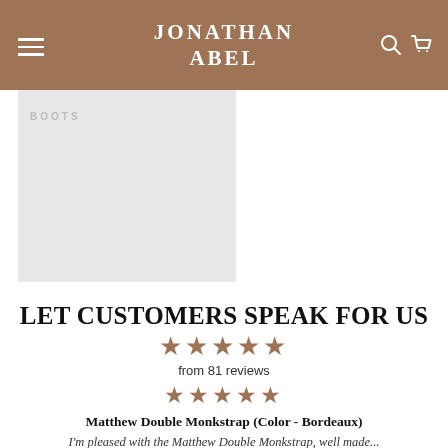JONATHAN ABEL
[Figure (photo): Product placeholder image with 'BOOTS' label in light gray]
LET CUSTOMERS SPEAK FOR US
★★★★★ from 81 reviews
★★★★★
Matthew Double Monkstrap (Color - Bordeaux)
I'm pleased with the Matthew Double Monkstrap, well made...